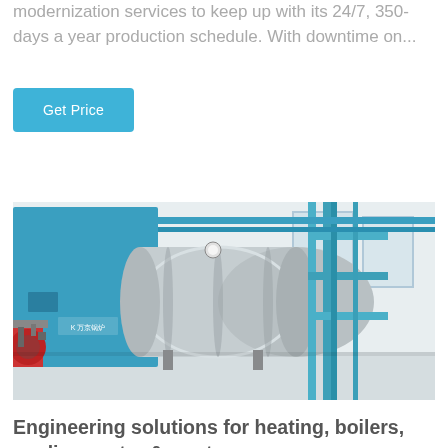modernization services to keep up with its 24/7, 350-days a year production schedule. With downtime on...
Get Price
[Figure (photo): Industrial boiler room with large blue boiler unit on the left, cylindrical silver pressure vessels in the center, blue piping framework on the right, and red burner assembly on the far left. Chinese manufacturer logo visible on the unit. Clean white industrial facility interior.]
Engineering solutions for heating, boilers, cooling, water & waste...